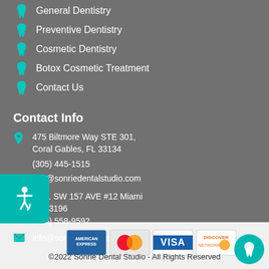General Dentistry
Preventive Dentistry
Cosmetic Dentistry
Botox Cosmetic Treatment
Contact Us
Contact Info
475 Biltmore Way STE 301, Coral Gables, FL 33134
(305) 445-1515
info@sonriedentalstudio.com
8901 SW 157 AVE #12 Miami FL 33196
(786) 558-9592
info@sonriekendall.com
[Figure (other): Payment method logos: American Express, MasterCard, Visa, Discover]
©2022 Sonrie Dental Studio - All Rights Reserved